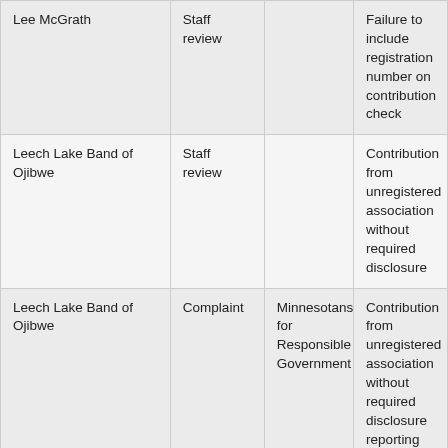| Lee McGrath | Staff review |  | Failure to include registration number on contribution check |
| Leech Lake Band of Ojibwe | Staff review |  | Contribution from unregistered association without required disclosure |
| Leech Lake Band of Ojibwe | Complaint | Minnesotans for Responsible Government | Contribution from unregistered association without required disclosure reporting |
| Leech Lake Gaming Division | Board investigation |  | Contribution from unregiste... |